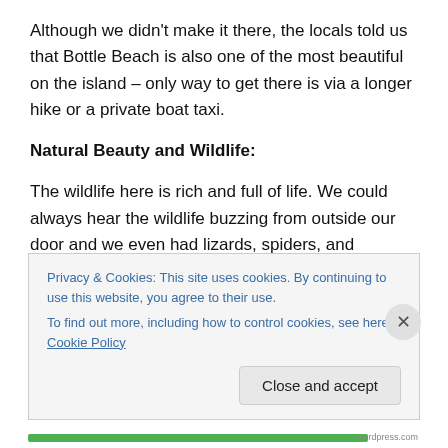Although we didn't make it there, the locals told us that Bottle Beach is also one of the most beautiful on the island – only way to get there is via a longer hike or a private boat taxi.
Natural Beauty and Wildlife:
The wildlife here is rich and full of life. We could always hear the wildlife buzzing from outside our door and we even had lizards, spiders, and mosquitos in our room most of the time. There are many resident snakes including
Privacy & Cookies: This site uses cookies. By continuing to use this website, you agree to their use.
To find out more, including how to control cookies, see here: Cookie Policy
Close and accept